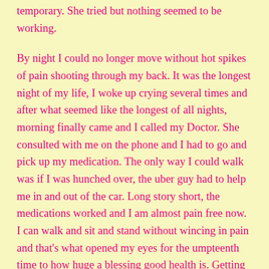temporary. She tried but nothing seemed to be working.
By night I could no longer move without hot spikes of pain shooting through my back. It was the longest night of my life, I woke up crying several times and after what seemed like the longest of all nights, morning finally came and I called my Doctor. She consulted with me on the phone and I had to go and pick up my medication. The only way I could walk was if I was hunched over, the uber guy had to help me in and out of the car. Long story short, the medications worked and I am almost pain free now. I can walk and sit and stand without wincing in pain and that's what opened my eyes for the umpteenth time to how huge a blessing good health is. Getting up, sitting and or laying down, closing and opening our eyes, everything single thing! These are precious blessings that we must never take for granted. Life and it's ups and downs can make us lose sight of how blessed we are and we must never forget.
We are blessed, even when it doesn't feel like it. Look around and give thanks for how blessed you truly are, because every day we get